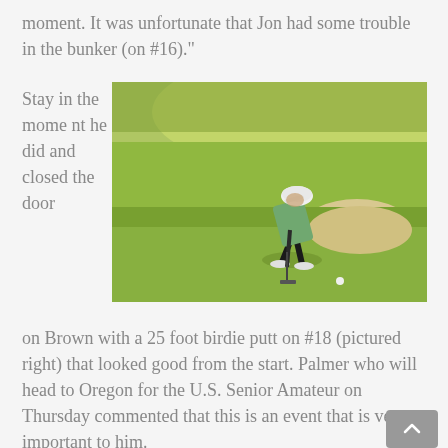moment. It was unfortunate that Jon had some trouble in the bunker (on #16)."
Stay in the moment he did and closed the door
[Figure (photo): A golfer putting on a green golf course, bent over with putter, wearing white cap, green shirt and dark shorts. Sand bunker visible in background. Lush green grass and trees in background.]
on Brown with a 25 foot birdie putt on #18 (pictured right) that looked good from the start. Palmer who will head to Oregon for the U.S. Senior Amateur on Thursday commented that this is an event that is very important to him.